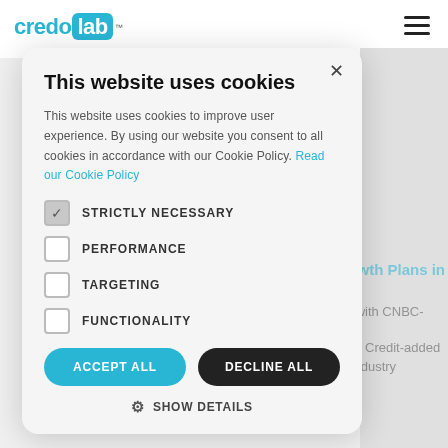[Figure (logo): CredoLab logo with teal text and teal background box]
[Figure (other): Hamburger menu icon (three horizontal lines)]
This website uses cookies
This website uses cookies to improve user experience. By using our website you consent to all cookies in accordance with our Cookie Policy. Read our Cookie Policy
STRICTLY NECESSARY
PERFORMANCE
TARGETING
FUNCTIONALITY
ACCEPT ALL
DECLINE ALL
SHOW DETAILS